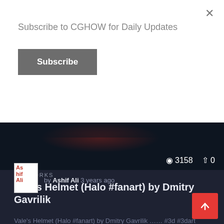Subscribe to CGHOW for Daily Updates
Subscribe
[Figure (screenshot): Dark cinematic scene with reddish glowing elements, a Halo helmet fanart image strip with stats overlay showing 3158 views and 0 shares]
ARTWORKS
Vale's Helmet (Halo #fanart) by Dmitry Gavrilik
Vale's Helmet (Halo #fanart) by Dmitry Gavrilik …… #3d #3dart #3dartist #artist #art #conceptart #inspiration #cgart #dailyart #illustration #digitalart #instaart #gamedev…
by Ashif Ali 3 years ago